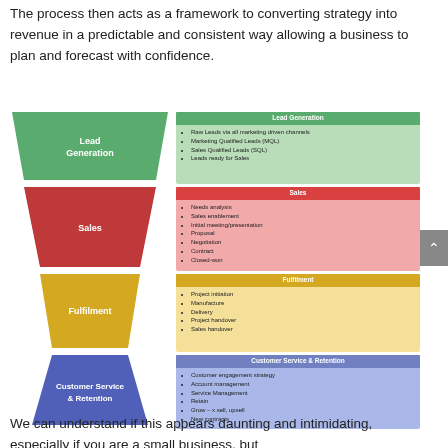The process then acts as a framework to converting strategy into revenue in a predictable and consistent way allowing a business to plan and forecast with confidence.
[Figure (infographic): Sales funnel infographic with four stages shown as trapezoid shapes on the left and corresponding detail panels on the right. Stages: Lead Generation (green), Sales (red), Fulfilment (yellow), Customer Service & Retention (blue). Each panel lists bullet points of activities.]
We can understand if this appears daunting and intimidating, especially if you are a small business, but